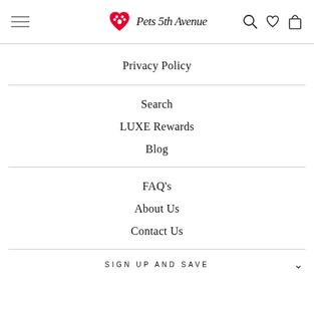Pets 5th Avenue navigation header with hamburger menu, logo, search, wishlist, and cart icons
Privacy Policy
Search
LUXE Rewards
Blog
FAQ's
About Us
Contact Us
SIGN UP AND SAVE